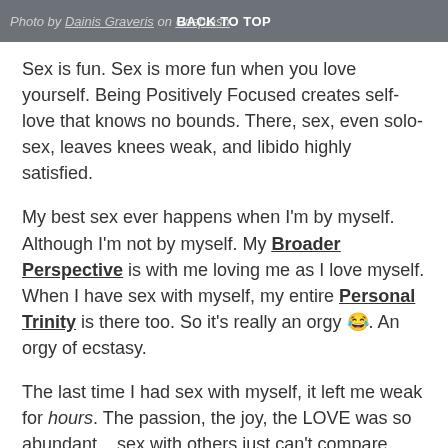Photo by Dainis Graveris on Unsplash  BACK TO TOP
Sex is fun. Sex is more fun when you love yourself. Being Positively Focused creates self-love that knows no bounds. There, sex, even solo-sex, leaves knees weak, and libido highly satisfied.
My best sex ever happens when I'm by myself. Although I'm not by myself. My Broader Perspective is with me loving me as I love myself. When I have sex with myself, my entire Personal Trinity is there too. So it's really an orgy 😂. An orgy of ecstasy.
The last time I had sex with myself, it left me weak for hours. The passion, the joy, the LOVE was so abundant... sex with others just can't compare.
Schedule Your FREE 30-minute trial 1:1
It seems weir…